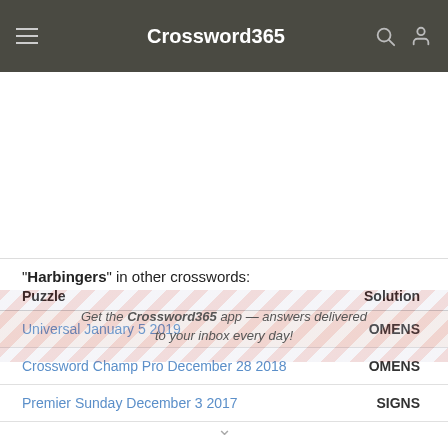Crossword365
"Harbingers" in other crosswords:
| Puzzle | Solution |
| --- | --- |
| Universal January 5 2019 | OMENS |
| Crossword Champ Pro December 28 2018 | OMENS |
| Premier Sunday December 3 2017 | SIGNS |